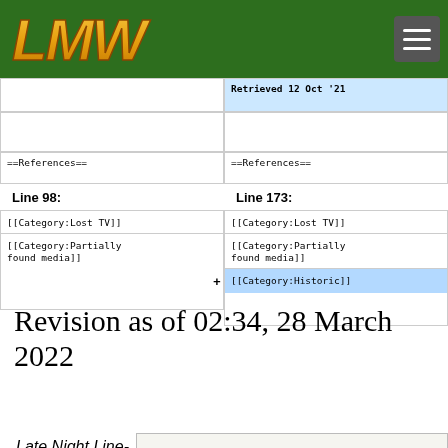[Figure (logo): LMW logo in gold/orange stylized text on green header bar]
Retrieved 12 Oct '21
==References==
==References==
Line 98:
Line 173:
[[Category:Lost TV]]
[[Category:Partially found media]]
[[Category:Lost TV]]
[[Category:Partially found media]]
+[[Category:Historic]]
Revision as of 02:34, 28 March 2022
Late Night Line-Up
BEATLES' NEW ALBUM